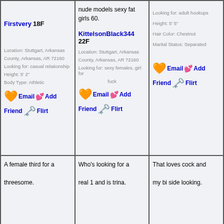Firstvery 18F
Location: Stuttgart, Arkansas
County, Arkansas, AR 72160
Looking for: casual relationship
Height: 5' 2"
Body Type: Athletic
nude models sexy fat girls 60.
KittelsonBlack344 22F
Location: Stuttgart, Arkansas
County, Arkansas, AR 72160
Looking for: sexy females, girl for
fuck
Looking for: adult hookups
Height: 5' 5"
Hair Color: Chestnut
Marital Status: Separated
A female third for a threesome.
Who's looking for a real 1 and is trina.
That loves cock and my bi side looking.